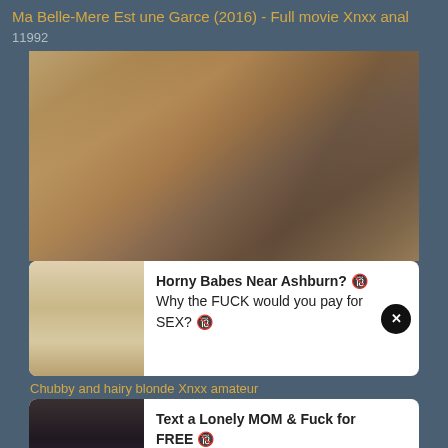Ma Belle-Mere Est une Garce (2016) - Full movie Xnxx anal
11992
[Figure (photo): Video thumbnail showing a woman lying on her back]
[Figure (infographic): Ad card: Horny Babes Near Ashburn? Why the FUCK would you pay for SEX?]
Chubby and hairy blonde Xnxx amateur
[Figure (infographic): Ad card: Text a Lonely MOM & Fuck for FREE. Bang a MILF that Hates her Husband!]